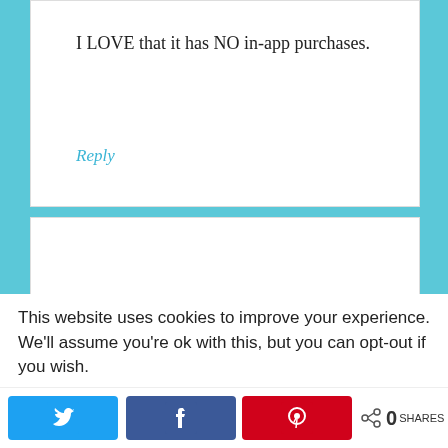I LOVE that it has NO in-app purchases.
Reply
Little Miss Kate says
May 15, 2014 at 10:02 pm
[Figure (illustration): Avatar illustration of Little Miss Kate – cartoon girl with red hair and green outfit]
This website uses cookies to improve your experience. We'll assume you're ok with this, but you can opt-out if you wish.
[Figure (infographic): Share bar with Twitter, Facebook, Pinterest buttons and share count showing 0 SHARES]